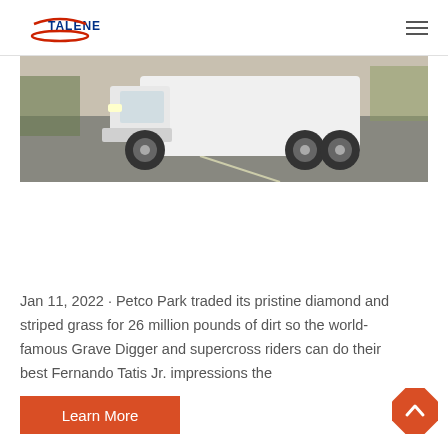TALENET
[Figure (photo): White truck/bus vehicle on a road, partial view showing front and wheels, photographed from a low angle]
Jan 11, 2022 · Petco Park traded its pristine diamond and striped grass for 26 million pounds of dirt so the world-famous Grave Digger and supercross riders can do their best Fernando Tatis Jr. impressions the
Learn More